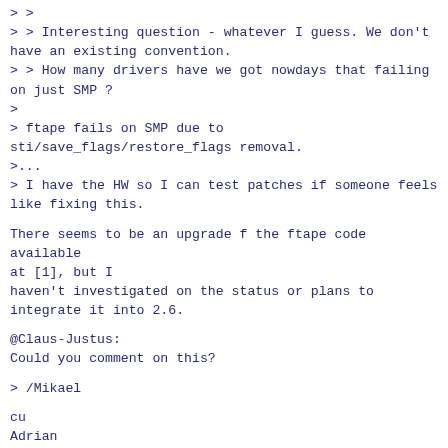> >
> > Interesting question - whatever I guess. We don't have an existing convention.
> > How many drivers have we got nowdays that failing on just SMP ?
>
> ftape fails on SMP due to sti/save_flags/restore_flags removal.
>...
> I have the HW so I can test patches if someone feels like fixing this.

There seems to be an upgrade f the ftape code available at [1], but I haven't investigated on the status or plans to integrate it into 2.6.

@Claus-Justus:
Could you comment on this?

> /Mikael

cu
Adrian

[1] http://www.instmath.rwth-aachen.de/~heine/ftape/

--

        "Is there not promise of rain?" Ling Tan asked